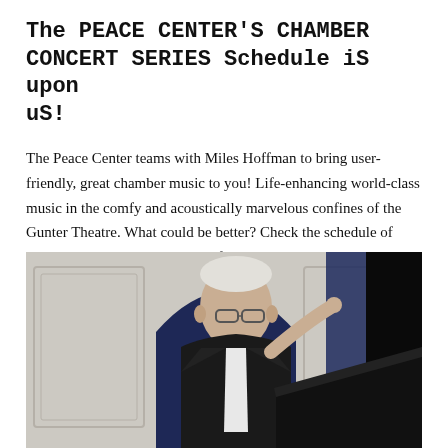The PEACE CENTER'S CHAMBER CONCERT SERIES Schedule iS upon uS!
The Peace Center teams with Miles Hoffman to bring user-friendly, great chamber music to you! Life-enhancing world-class music in the comfy and acoustically marvelous confines of the Gunter Theatre. What could be better? Check the schedule of events below!, then get ticket info by clicking HERE!
[Figure (photo): An older man in a black suit with white hair and glasses, smiling and pointing while seated at or near a piano. The background shows white walls with a classical arch and blue curtains.]